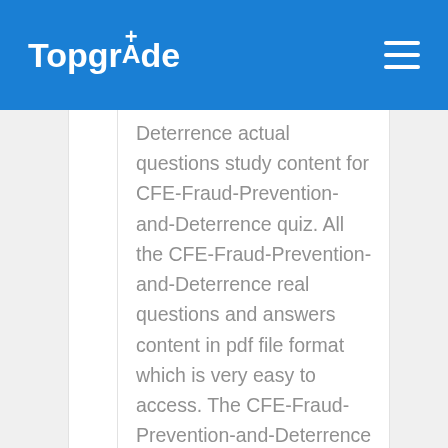TopgrAde
Deterrence actual questions study content for CFE-Fraud-Prevention-and-Deterrence quiz. All the CFE-Fraud-Prevention-and-Deterrence real questions and answers content in pdf file format which is very easy to access. The CFE-Fraud-Prevention-and-Deterrence pdf dumps content also contains very difficult...